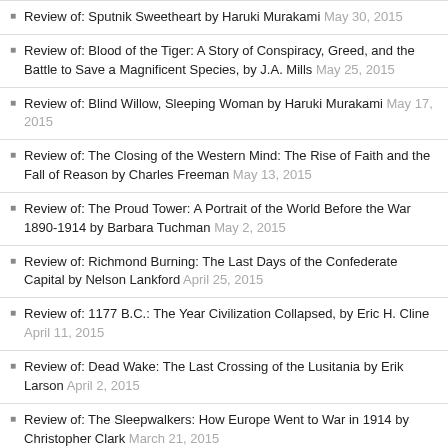Review of: Sputnik Sweetheart by Haruki Murakami May 30, 2015
Review of: Blood of the Tiger: A Story of Conspiracy, Greed, and the Battle to Save a Magnificent Species, by J.A. Mills May 25, 2015
Review of: Blind Willow, Sleeping Woman by Haruki Murakami May 17, 2015
Review of: The Closing of the Western Mind: The Rise of Faith and the Fall of Reason by Charles Freeman May 13, 2015
Review of: The Proud Tower: A Portrait of the World Before the War 1890-1914 by Barbara Tuchman May 2, 2015
Review of: Richmond Burning: The Last Days of the Confederate Capital by Nelson Lankford April 25, 2015
Review of: 1177 B.C.: The Year Civilization Collapsed, by Eric H. Cline April 11, 2015
Review of: Dead Wake: The Last Crossing of the Lusitania by Erik Larson April 2, 2015
Review of: The Sleepwalkers: How Europe Went to War in 1914 by Christopher Clark March 21, 2015
Review of: Gateway to Freedom: The Hidden History of the Underground Railroad, by Eric Foner March 1, 2015